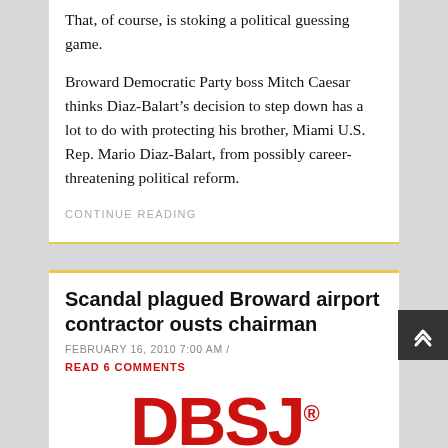That, of course, is stoking a political guessing game.
Broward Democratic Party boss Mitch Caesar thinks Diaz-Balart's decision to step down has a lot to do with protecting his brother, Miami U.S. Rep. Mario Diaz-Balart, from possibly career-threatening political reform.
CONTINUE READING
Scandal plagued Broward airport contractor ousts chairman
FEBRUARY 16, 2010 7:00 AM /
READ 6 COMMENTS
[Figure (logo): DBSI logo in red with registered trademark symbol]